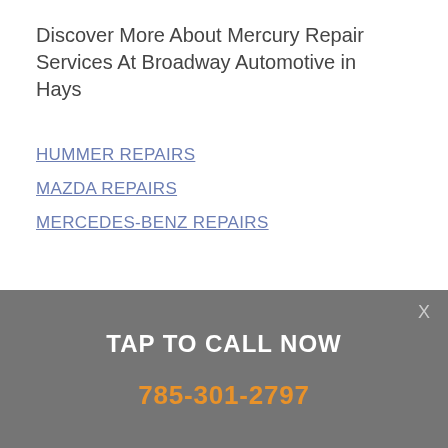Discover More About Mercury Repair Services At Broadway Automotive in Hays
HUMMER REPAIRS
MAZDA REPAIRS
MERCEDES-BENZ REPAIRS
X
TAP TO CALL NOW
785-301-2797